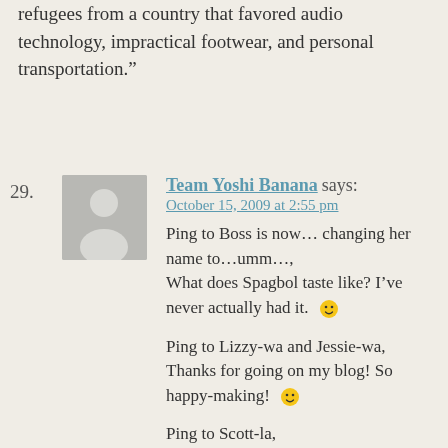refugees from a country that favored audio technology, impractical footwear, and personal transportation."
29. Team Yoshi Banana says:
October 15, 2009 at 2:55 pm
Ping to Boss is now... changing her name to...umm...,
What does Spagbol taste like? I've never actually had it. 🙂

Ping to Lizzy-wa and Jessie-wa,
Thanks for going on my blog! So happy-making! 🙂

Ping to Scott-la,
I CAN'T WAIT TO SEE YOU IN BOSTON!!...